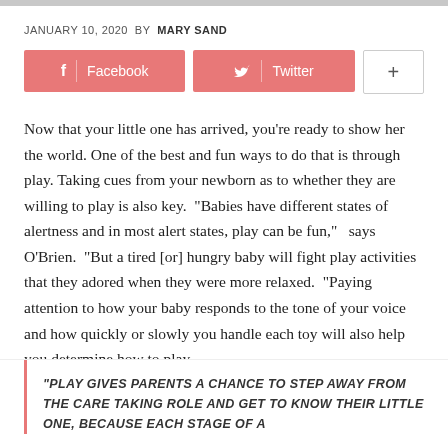JANUARY 10, 2020  BY  MARY SAND
[Figure (other): Social sharing buttons: Facebook, Twitter, and a plus button]
Now that your little one has arrived, you're ready to show her the world. One of the best and fun ways to do that is through play. Taking cues from your newborn as to whether they are willing to play is also key.  “Babies have different states of alertness and in most alert states, play can be fun,”  says O’Brien.  “But a tired [or] hungry baby will fight play activities that they adored when they were more relaxed.  “Paying attention to how your baby responds to the tone of your voice and how quickly or slowly you handle each toy will also help you determine how to play.
“PLAY GIVES PARENTS A CHANCE TO STEP AWAY FROM THE CARE TAKING ROLE AND GET TO KNOW THEIR LITTLE ONE, BECAUSE EACH STAGE OF A